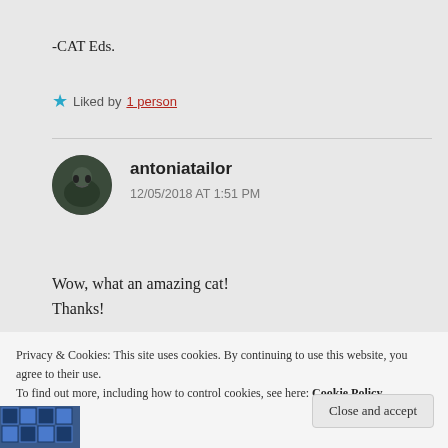-CAT Eds.
Liked by 1 person
antoniatailor
12/05/2018 AT 1:51 PM
Wow, what an amazing cat!
Thanks!
Privacy & Cookies: This site uses cookies. By continuing to use this website, you agree to their use.
To find out more, including how to control cookies, see here: Cookie Policy
Close and accept